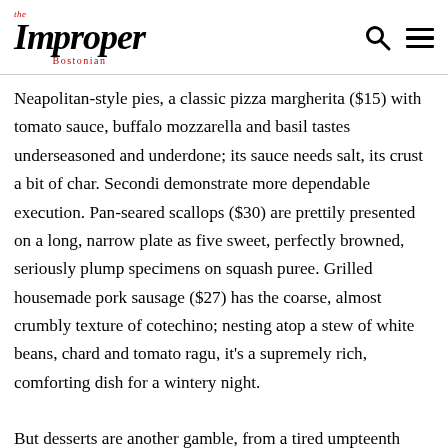the Improper Bostonian
Neapolitan-style pies, a classic pizza margherita ($15) with tomato sauce, buffalo mozzarella and basil tastes underseasoned and underdone; its sauce needs salt, its crust a bit of char. Secondi demonstrate more dependable execution. Pan-seared scallops ($30) are prettily presented on a long, narrow plate as five sweet, perfectly browned, seriously plump specimens on squash puree. Grilled housemade pork sausage ($27) has the coarse, almost crumbly texture of cotechino; nesting atop a stew of white beans, chard and tomato ragu, it’s a supremely rich, comforting dish for a wintery night.
But desserts are another gamble, from a tired umpteenth iteration of tiramisu ($8), to a dry, unmemorable crostate pignoli ($8) with fig marmellata, to a beautiful, intense cioccolato torte ($8) with